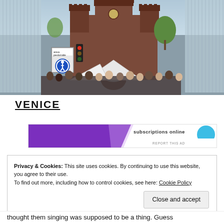[Figure (photo): Outdoor photo of a historic brick castle (Sforzesco Castle, Milan) with fountains, a crowd of people, a pedestrian zone sign, a traffic light, white tents, and glass modern buildings on both sides. Sky visible above.]
VENICE
[Figure (other): Partial advertisement banner with purple design and text 'subscriptions online', with a blue arc logo and 'REPORT THIS AD' label.]
Privacy & Cookies: This site uses cookies. By continuing to use this website, you agree to their use.
To find out more, including how to control cookies, see here: Cookie Policy
Close and accept
thought them singing was supposed to be a thing. Guess